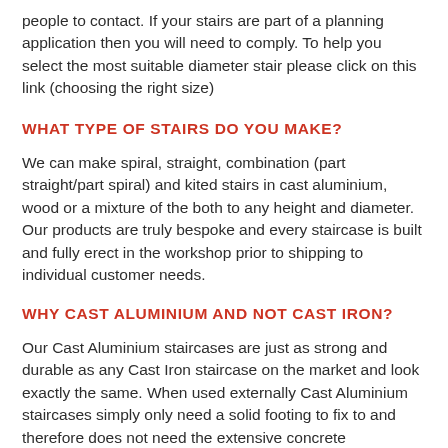people to contact. If your stairs are part of a planning application then you will need to comply. To help you select the most suitable diameter stair please click on this link (choosing the right size)
WHAT TYPE OF STAIRS DO YOU MAKE?
We can make spiral, straight, combination (part straight/part spiral) and kited stairs in cast aluminium, wood or a mixture of the both to any height and diameter. Our products are truly bespoke and every staircase is built and fully erect in the workshop prior to shipping to individual customer needs.
WHY CAST ALUMINIUM AND NOT CAST IRON?
Our Cast Aluminium staircases are just as strong and durable as any Cast Iron staircase on the market and look exactly the same. When used externally Cast Aluminium staircases simply only need a solid footing to fix to and therefore does not need the extensive concrete foundations that Cast